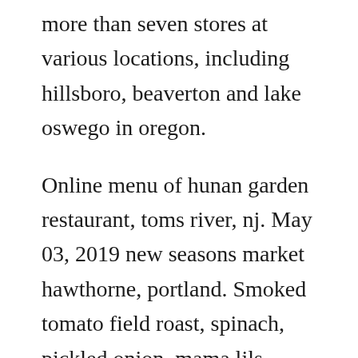more than seven stores at various locations, including hillsboro, beaverton and lake oswego in oregon.
Online menu of hunan garden restaurant, toms river, nj. May 03, 2019 new seasons market hawthorne, portland. Smoked tomato field roast, spinach, pickled onion, mama lils peppers, avocado, vegan chao slices and vegan chipotle aioli on new seasons market ciabatta the impossible burger plantprotein patty, organic housemade bun, chipotle aioli, caramelized onion, dijon, chao slices, lettuce, tomato. New seasons market chipotle aioli...